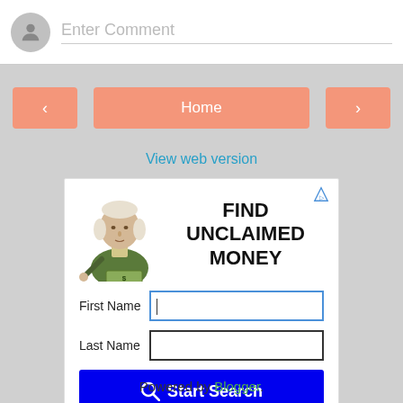Enter Comment
Home
< >
View web version
[Figure (screenshot): Ad banner: FIND UNCLAIMED MONEY with George Washington illustration, First Name and Last Name input fields, Start Search button, PeopleLooker label]
Powered by Blogger.